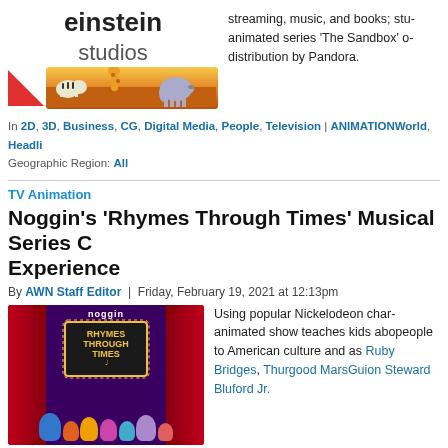[Figure (logo): Einstein Studios logo with animated animal characters]
streaming, music, and books; animated series 'The Sandbox' o distribution by Pandora.
In 2D, 3D, Business, CG, Digital Media, People, Television | ANIMATIONWorld, Headli Geographic Region: All
TV Animation
Noggin's 'Rhymes Through Times' Musical Series C Experience
By AWN Staff Editor | Friday, February 19, 2021 at 12:13pm
[Figure (photo): Noggin Rhymes Through Times show title card with Nickelodeon characters on stage]
Using popular Nickelodeon char animated show teaches kids abo people to American culture and as Ruby Bridges, Thurgood Mars Guion Steward Bluford Jr.
In 2D, Business, CG, Digital Media, Diversity and Inclusion, People, Television, Voice ANIMATIONWorld, Headline News